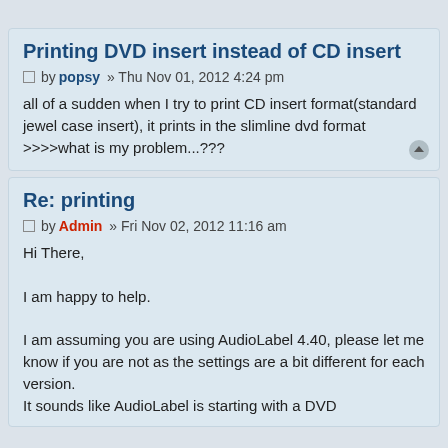Page 1 of 1
Printing DVD insert instead of CD insert
by popsy » Thu Nov 01, 2012 4:24 pm
all of a sudden when I try to print CD insert format(standard jewel case insert), it prints in the slimline dvd format >>>>what is my problem...???
Re: printing
by Admin » Fri Nov 02, 2012 11:16 am
Hi There,

I am happy to help.

I am assuming you are using AudioLabel 4.40, please let me know if you are not as the settings are a bit different for each version.
It sounds like AudioLabel is starting with a DVD